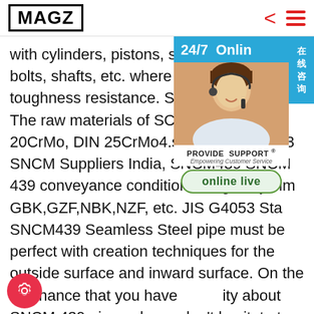MAGZ
[Figure (infographic): 24/7 Online customer support widget with photo of woman wearing headset, Provide Support branding, and online live button. Chinese text '在线咨询' on right side tab.]
with cylinders, pistons, spindles, gears, bolts, shafts, etc. where require high toughness resistance. SCM420 alloy steel. The raw materials of SCM420 are GB 20CrMo, DIN 25CrMo4.sp.info JIS G4053 SNCM Suppliers India, SNCM439 SNCM 439 conveyance condition is regularly similar GBK,GZF,NBK,NZF, etc. JIS G4053 Sta SNCM439 Seamless Steel pipe must be perfect with creation techniques for the outside surface and inward surface. On the off chance that you have ity about SNCM 439 pipe , please don't hesitate to contact with us.Proportionate Grades:GB
[Figure (other): Red circular settings/gear icon button]